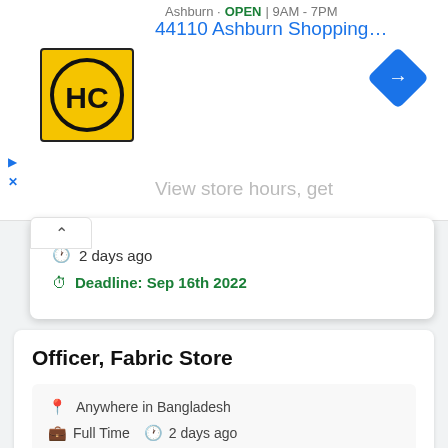Ashburn · OPEN · 9AM - 7PM
44110 Ashburn Shopping Plaza 1.
[Figure (logo): HC logo - yellow square with HC letters in black circle]
[Figure (illustration): Blue diamond navigation arrow icon]
View store hours, get
2 days ago
Deadline: Sep 16th 2022
Officer, Fabric Store
Anywhere in Bangladesh
Full Time   2 days ago
Deadline: Sep 16th 2022